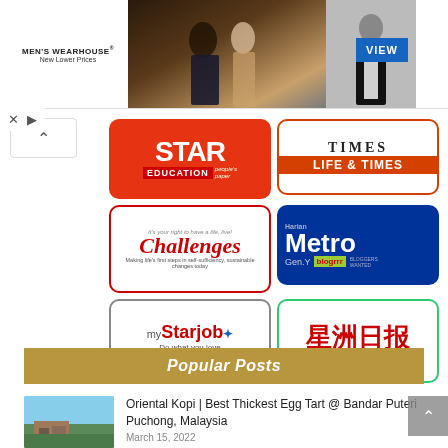[Figure (photo): Men's Wearhouse advertisement banner showing a couple in formal wear and a man in a tuxedo, with VIEW button]
[Figure (illustration): Grid of 6 publication logos: Star Education, Times Life & Times, Challenges, Harian Metro Gen.Y blogrrr, myStarjob, Sin Chew Daily]
Popular Posts
[Figure (photo): Thumbnail photo of Oriental Kopi restaurant exterior]
Oriental Kopi | Best Thickest Egg Tart @ Bandar Puteri Puchong, Malaysia
March 15, 2022